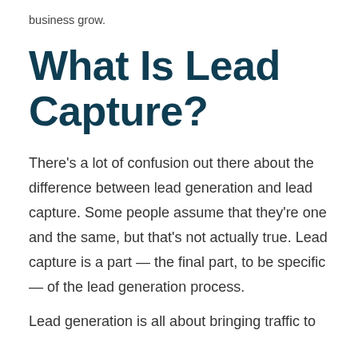business grow.
What Is Lead Capture?
There's a lot of confusion out there about the difference between lead generation and lead capture. Some people assume that they're one and the same, but that's not actually true. Lead capture is a part — the final part, to be specific — of the lead generation process.
Lead generation is all about bringing traffic to